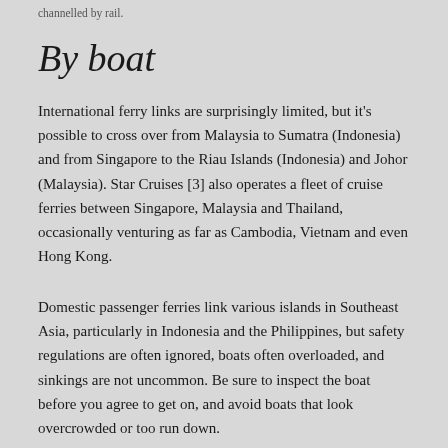channelled by rail.
By boat
International ferry links are surprisingly limited, but it's possible to cross over from Malaysia to Sumatra (Indonesia) and from Singapore to the Riau Islands (Indonesia) and Johor (Malaysia). Star Cruises [3] also operates a fleet of cruise ferries between Singapore, Malaysia and Thailand, occasionally venturing as far as Cambodia, Vietnam and even Hong Kong.
Domestic passenger ferries link various islands in Southeast Asia, particularly in Indonesia and the Philippines, but safety regulations are often ignored, boats often overloaded, and sinkings are not uncommon. Be sure to inspect the boat before you agree to get on, and avoid boats that look overcrowded or too run down.